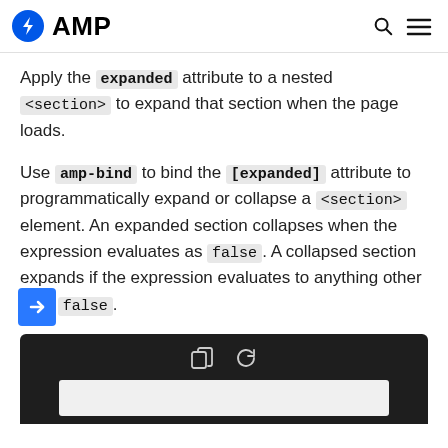AMP
Apply the expanded attribute to a nested <section> to expand that section when the page loads.
Use amp-bind to bind the [expanded] attribute to programmatically expand or collapse a <section> element. An expanded section collapses when the expression evaluates as false. A collapsed section expands if the expression evaluates to anything other than false.
[Figure (screenshot): Dark code editor preview block with copy and refresh icons, and a light gray preview area below]